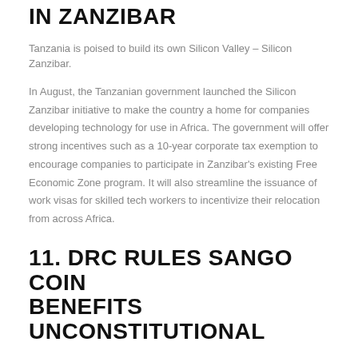IN ZANZIBAR
Tanzania is poised to build its own Silicon Valley – Silicon Zanzibar.
In August, the Tanzanian government launched the Silicon Zanzibar initiative to make the country a home for companies developing technology for use in Africa. The government will offer strong incentives such as a 10-year corporate tax exemption to encourage companies to participate in Zanzibar's existing Free Economic Zone program. It will also streamline the issuance of work visas for skilled tech workers to incentivize their relocation from across Africa.
11. DRC RULES SANGO COIN BENEFITS UNCONSTITUTIONAL
In August, the Constitutional Court of the Central African Republic (CAR) ruled that any purchase of citizenship, e-residence or land using its recently introduced Sango coin is unconstitutional.